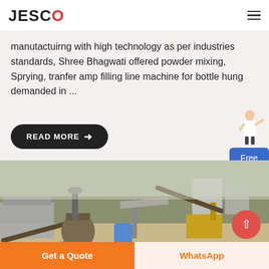JESCO
manufacturng with high technology as per industries standards, Shree Bhagwati offered powder mixing, Sprying, tranfer amp filling line machine for bottle hung demanded in ...
READ MORE →
[Figure (illustration): Free chat widget with a female figure and blue box labeled 'Free chat']
[Figure (photo): Industrial quarry or mining facility with heavy machinery, conveyor belts, and structures. YMC branding visible.]
Get a Quote
WhatsApp